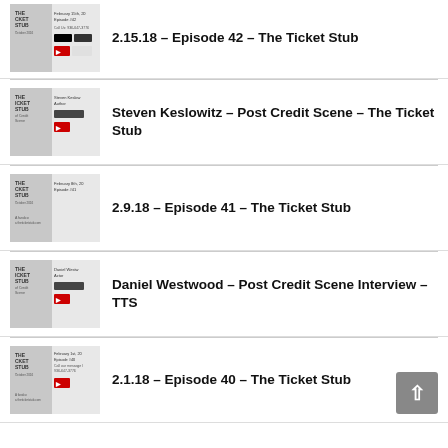2.15.18 – Episode 42 – The Ticket Stub
Steven Keslowitz – Post Credit Scene – The Ticket Stub
2.9.18 – Episode 41 – The Ticket Stub
Daniel Westwood – Post Credit Scene Interview – TTS
2.1.18 – Episode 40 – The Ticket Stub